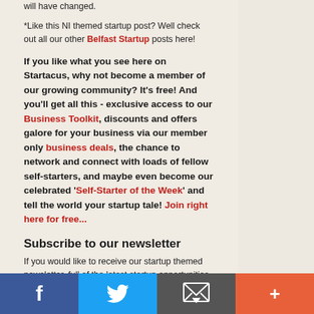will have changed.
*Like this NI themed startup post? Well check out all our other Belfast Startup posts here!
If you like what you see here on Startacus, why not become a member of our growing community? It's free! And you'll get all this - exclusive access to our Business Toolkit, discounts and offers galore for your business via our member only business deals, the chance to network and connect with loads of fellow self-starters, and maybe even become our celebrated 'Self-Starter of the Week' and tell the world your startup tale! Join right here for free...
Subscribe to our newsletter
If you would like to receive our startup themed newsletter, full of the latest startup opportunities, events, news, stories, tips and advice, then sign up here.